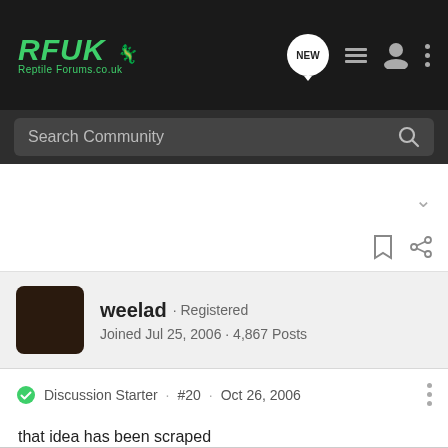RFUK Reptile Forums.co.uk
Search Community
weelad · Registered
Joined Jul 25, 2006 · 4,867 Posts
Discussion Starter · #20 · Oct 26, 2006
that idea has been scraped